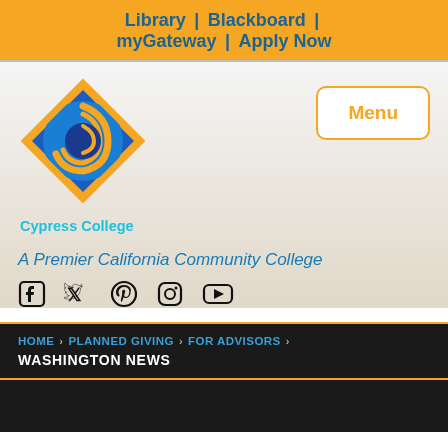Library | Blackboard | myGateway | Apply Now
[Figure (logo): Cypress College logo: a blue circle with yellow swirl inside a yellow diamond border, with blue text 'Cypress College' below]
Menu
A Premier California Community College
[Figure (illustration): Social media icons: Facebook, Twitter, Pinterest, Instagram, YouTube]
HOME › PLANNED GIVING › FOR ADVISORS › WASHINGTON NEWS